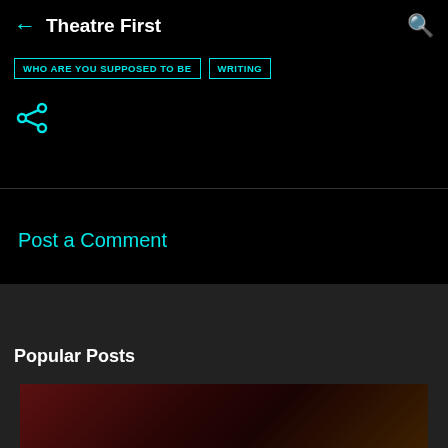Theatre First
WHO ARE YOU SUPPOSED TO BE
WRITING
[Figure (illustration): Share icon (cyan network/share symbol)]
Post a Comment
Popular Posts
[Figure (photo): Dark theatre scene with warm red/brown tones, partial view of theatre interior with wooden elements]